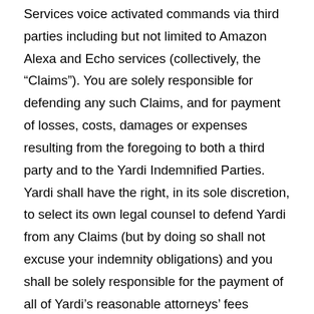Services voice activated commands via third parties including but not limited to Amazon Alexa and Echo services (collectively, the “Claims”). You are solely responsible for defending any such Claims, and for payment of losses, costs, damages or expenses resulting from the foregoing to both a third party and to the Yardi Indemnified Parties. Yardi shall have the right, in its sole discretion, to select its own legal counsel to defend Yardi from any Claims (but by doing so shall not excuse your indemnity obligations) and you shall be solely responsible for the payment of all of Yardi’s reasonable attorneys’ fees incurred in connection therewith. You shall notify Yardi immediately if you become aware of any actual or potential claims, suits, actions, allegations or charges that could affect your or Yardi’s ability to fully perform their respective duties or to exercise its rights under these Terms. You shall not, without the prior written approval of Yardi, settle, dispose or enter into any proposed settlement or resolution of any Claim (whether having been finally